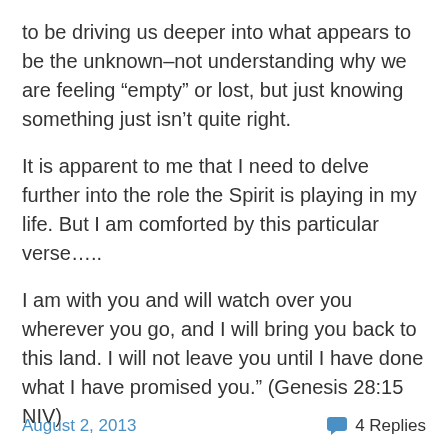to be driving us deeper into what appears to be the unknown–not understanding why we are feeling “empty” or lost, but just knowing something just isn’t quite right.
It is apparent to me that I need to delve further into the role the Spirit is playing in my life. But I am comforted by this particular verse…..
I am with you and will watch over you wherever you go, and I will bring you back to this land. I will not leave you until I have done what I have promised you.” (Genesis 28:15 NIV)
Here is to seeking and soothing the unknown yearnings of our deepest interior. Here is to finding our true “home”….
August 2, 2013    4 Replies